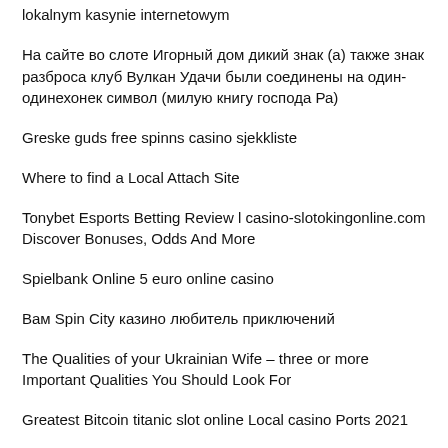lokalnym kasynie internetowym
На сайте во слоте Игорный дом дикий знак (а) также знак разброса клуб Вулкан Удачи были соединены на один-одинехонек символ (милую книгу господа Ра)
Greske guds free spinns casino sjekkliste
Where to find a Local Attach Site
Tonybet Esports Betting Review l casino-slotokingonline.com Discover Bonuses, Odds And More
Spielbank Online 5 euro online casino
Вам Spin City казино любитель приключений
The Qualities of your Ukrainian Wife – three or more Important Qualities You Should Look For
Greatest Bitcoin titanic slot online Local casino Ports 2021